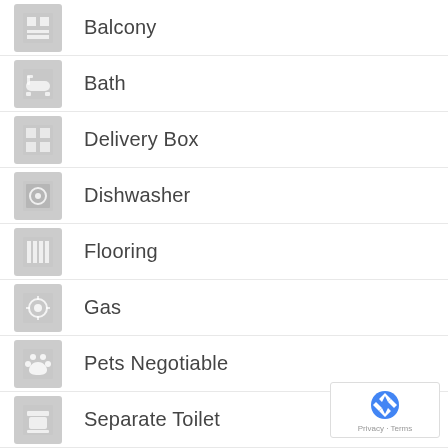Balcony
Bath
Delivery Box
Dishwasher
Flooring
Gas
Pets Negotiable
Separate Toilet